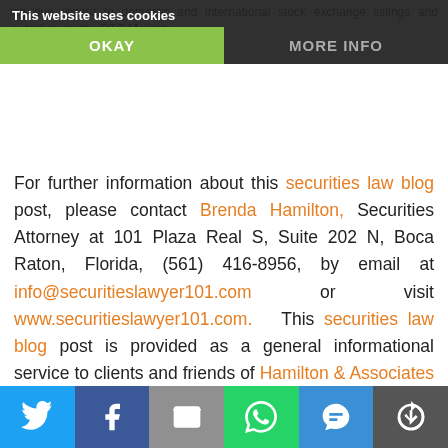This website uses cookies
OKAY
MORE INFO
For further information about this securities law blog post, please contact Brenda Hamilton, Securities Attorney at 101 Plaza Real S, Suite 202 N, Boca Raton, Florida, (561) 416-8956, by email at info@securitieslawyer101.com or visit www.securitieslawyer101.com. This securities law blog post is provided as a general informational service to clients and friends of Hamilton & Associates Law Group and should not be construed as, and does not constitute, legal and compliance advice on any specific matter, nor does this message create an attorney-client relationship. Please note that the prior results discussed herein do not guarantee similar outcomes.
[Figure (infographic): Social sharing bar with icons for Twitter, Facebook, Email, WhatsApp, SMS, and a share/refresh icon]